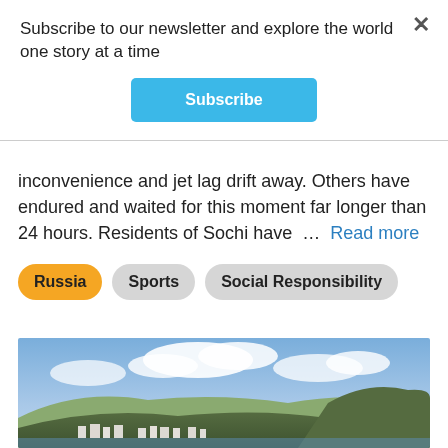Subscribe to our newsletter and explore the world one story at a time
Subscribe
inconvenience and jet lag drift away. Others have endured and waited for this moment far longer than 24 hours. Residents of Sochi have … Read more
Russia
Sports
Social Responsibility
[Figure (photo): Aerial or distant view of Sochi city with hills, clouds and blue sky in the background]